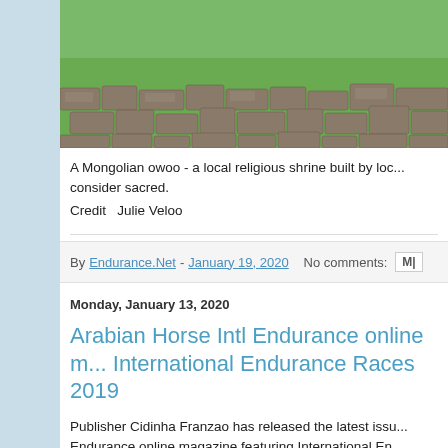[Figure (photo): A Mongolian owoo - a stone shrine/cairn built by locals, set against a green grassy background. The photo is cropped at the top showing rocks and grass.]
A Mongolian owoo - a local religious shrine built by loc... consider sacred.
Credit  Julie Veloo
By Endurance.Net - January 19, 2020   No comments:
Monday, January 13, 2020
Arabian Horse Intl Endurance online m... International Endurance Races 2019
Publisher Cidinha Franzao has released the latest issu... Endurance online magazine featuring International En...